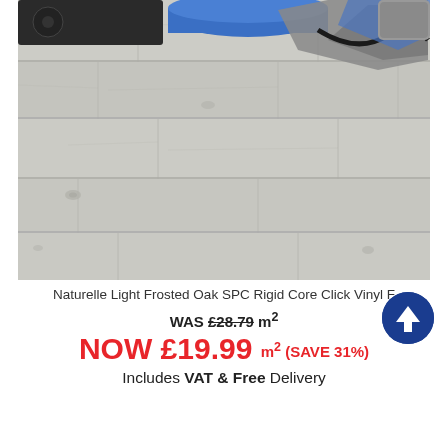[Figure (photo): Top-down view of light grey wood-effect SPC vinyl flooring planks with installation tools (roller, spacers, blue material) visible at the top]
Naturelle Light Frosted Oak SPC Rigid Core Click Vinyl F
WAS £28.79 m²
NOW £19.99 m² (SAVE 31%)
Includes VAT & Free Delivery